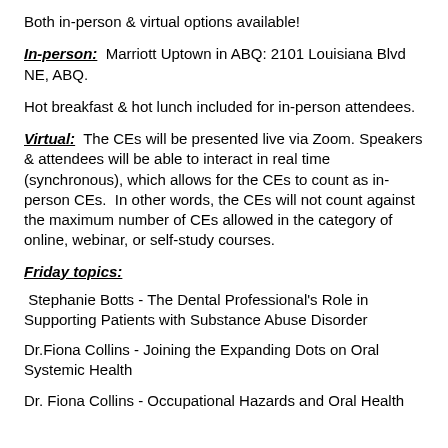Both in-person & virtual options available!
In-person:  Marriott Uptown in ABQ: 2101 Louisiana Blvd NE, ABQ.
Hot breakfast & hot lunch included for in-person attendees.
Virtual:  The CEs will be presented live via Zoom. Speakers & attendees will be able to interact in real time (synchronous), which allows for the CEs to count as in-person CEs.  In other words, the CEs will not count against the maximum number of CEs allowed in the category of online, webinar, or self-study courses.
Friday topics:
Stephanie Botts - The Dental Professional's Role in Supporting Patients with Substance Abuse Disorder
Dr.Fiona Collins - Joining the Expanding Dots on Oral Systemic Health
Dr. Fiona Collins - Occupational Hazards and Oral Health